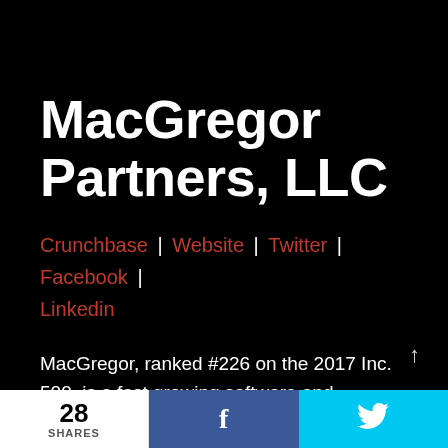MacGregor Partners, LLC
Crunchbase | Website | Twitter | Facebook | Linkedin
MacGregor, ranked #226 on the 2017 Inc. 500, is a fast growing software and services business in the supply chain industry.
28 SHARES